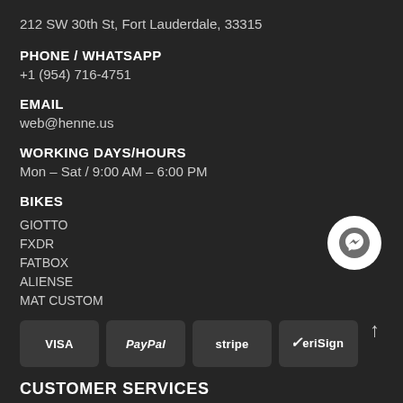212 SW 30th St, Fort Lauderdale, 33315
PHONE / WHATSAPP
+1 (954) 716-4751
EMAIL
web@henne.us
WORKING DAYS/HOURS
Mon – Sat / 9:00 AM – 6:00 PM
BIKES
GIOTTO
FXDR
FATBOX
ALIENSE
MAT CUSTOM
[Figure (logo): Payment method logos: VISA, PayPal, stripe, VeriSign]
[Figure (logo): Messenger chat button icon (white circle with grey messenger logo)]
CUSTOMER SERVICES